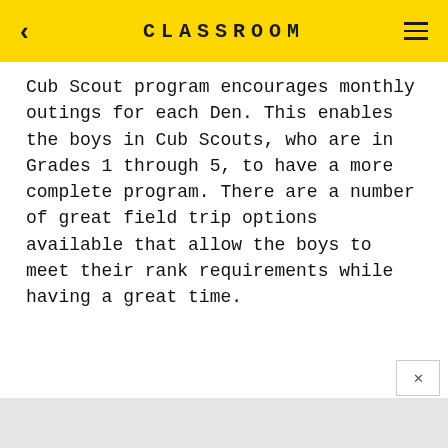CLASSROOM
Cub Scout program encourages monthly outings for each Den. This enables the boys in Cub Scouts, who are in Grades 1 through 5, to have a more complete program. There are a number of great field trip options available that allow the boys to meet their rank requirements while having a great time.
EXPLORE THIS ARTICLE